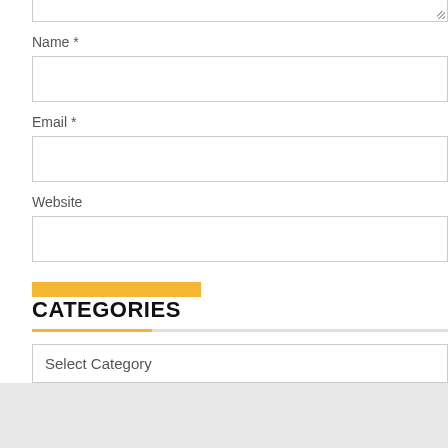Name *
[Figure (screenshot): Text input field for Name]
Email *
[Figure (screenshot): Text input field for Email]
Website
[Figure (screenshot): Text input field for Website]
[Figure (screenshot): Post Comment button in yellow/gold color]
CATEGORIES
[Figure (screenshot): Select Category dropdown]